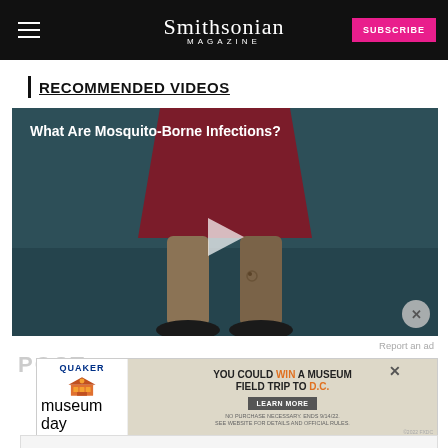Smithsonian Magazine | SUBSCRIBE
RECOMMENDED VIDEOS
[Figure (screenshot): Video thumbnail showing animated illustration of a person walking (lower body visible, wearing dark red skirt, brown legs, black shoes) on a dark teal background. Title overlay reads 'What Are Mosquito-Borne Infections?' with a play button in the center. A close/X button appears in the bottom-right corner of the video.]
Report an ad
POST
[Figure (screenshot): Quaker / Museum Day advertisement banner. Left side shows Quaker logo and Museum Day logo. Center shows text 'YOU COULD WIN A MUSEUM FIELD TRIP TO D.C.' with a LEARN MORE button. Fine print: 'NO PURCHASE NECESSARY. ENDS 9/14/22. SEE WEBSITE FOR DETAILS AND OFFICIAL RULES.' Copyright mark at bottom right.]